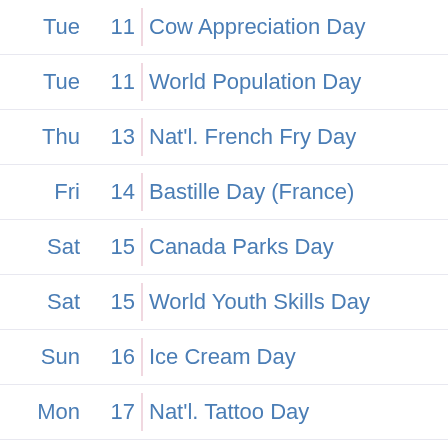| Day | Date |  | Event |
| --- | --- | --- | --- |
| Tue | 11 |  | Cow Appreciation Day |
| Tue | 11 |  | World Population Day |
| Thu | 13 |  | Nat'l. French Fry Day |
| Fri | 14 |  | Bastille Day (France) |
| Sat | 15 |  | Canada Parks Day |
| Sat | 15 |  | World Youth Skills Day |
| Sun | 16 |  | Ice Cream Day |
| Mon | 17 |  | Nat'l. Tattoo Day |
| Mon | 17 |  | World Emoji Day |
| Tue | 18 |  | Nelson Mandela Day |
| Wed | 19 | green | Islamic New Year Starts |
| Wed | 19 |  | K Days Begins (AB) |
| Sun | 23 |  | World Day for Grandparents and the... |
| Mon | 24 |  |  |